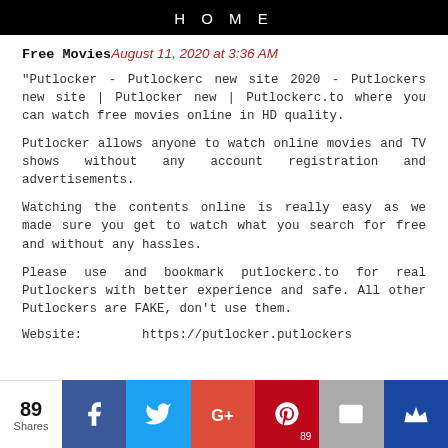HOME
Free Movies August 11, 2020 at 3:36 AM
"Putlocker - Putlockerc new site 2020 - Putlockers new site | Putlocker new | Putlockerc.to where you can watch free movies online in HD quality.
Putlocker allows anyone to watch online movies and TV shows without any account registration and advertisements.
Watching the contents online is really easy as we made sure you get to watch what you search for free and without any hassles.
Please use and bookmark putlockerc.to for real Putlockers with better experience and safe. All other Putlockers are FAKE, don't use them.
Website:        https://putlocker.putlockers
89 Shares | Facebook | Twitter | Google+ | Pinterest 89 | Email | Crown